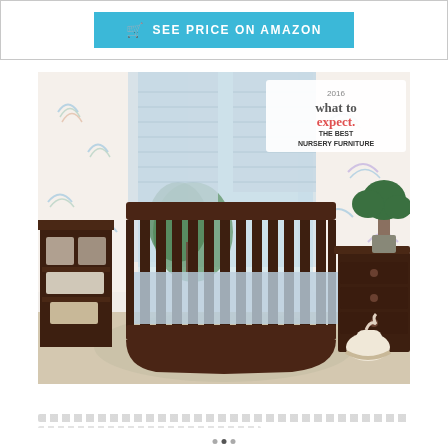[Figure (screenshot): Blue 'SEE PRICE ON AMAZON' button with cart icon inside a white bordered box]
[Figure (photo): Nursery room with dark espresso baby crib set including changing table and dresser. A 'What to Expect 2016 The Best Nursery Furniture' award badge is visible in the upper right corner. Room has rainbow-patterned curtains and walls, with a plush rocking horse toy near the dresser.]
The text below the image (partially visible, appears to be a product description)